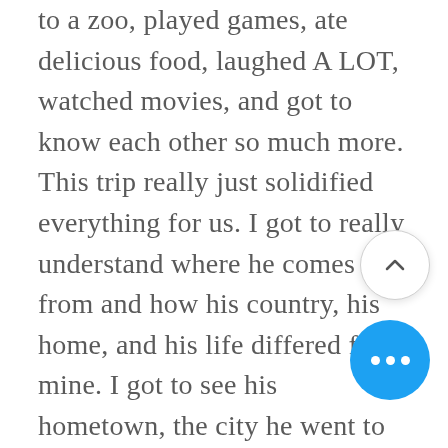to a zoo, played games, ate delicious food, laughed A LOT, watched movies, and got to know each other so much more. This trip really just solidified everything for us. I got to really understand where he comes from and how his country, his home, and his life differed from mine. I got to see his hometown, the city he went to school in, and some of his favorite places. I got to meet his family who were all so welcoming and nice to me. Everything went better than I could've imagined. He was such a gentlemen, paying for me, holding my hand and opening doors for me. I felt very protected and cared for. By the second or third day, I knew I wanted to spend the rest of my life with this amazing man. The 7 months of communicating online allowed us to get to know everything about each other. Then being together for two weeks